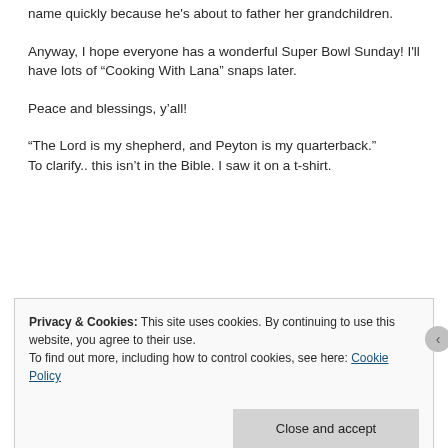name quickly because he's about to father her grandchildren.
Anyway, I hope everyone has a wonderful Super Bowl Sunday! I'll have lots of “Cooking With Lana” snaps later.
Peace and blessings, y’all!
“The Lord is my shepherd, and Peyton is my quarterback.”
To clarify.. this isn’t in the Bible. I saw it on a t-shirt.
Privacy & Cookies: This site uses cookies. By continuing to use this website, you agree to their use.
To find out more, including how to control cookies, see here: Cookie Policy
Close and accept